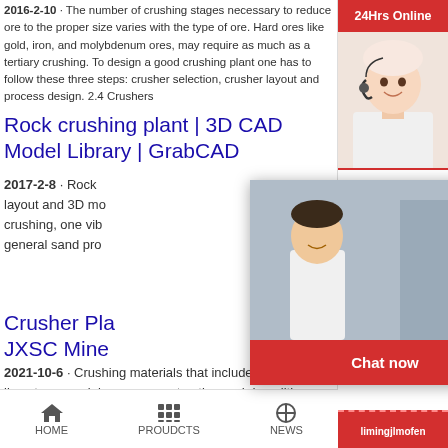2016-2-10 · The number of crushing stages necessary to reduce ore to the proper size varies with the type of ore. Hard ores like gold, iron, and molybdenum ores, may require as much as a tertiary crushing. To design a good crushing plant one has to follow these three steps: crusher selection, crusher layout and process design. 2.4 Crushers
Rock crushing plant | 3D CAD Model Library | GrabCAD
2017-2-8 · Rock ... layout and 3D me... crushing, one vib... general sand pro...
Crusher Pla... JXSC Mine
2021-10-6 · Crushing materials that include rock, pu... limestone, coal, iron ore, construction and demolition... mineral raw materials. The purpose of the crushing p... obtain different rock sizes or
[Figure (screenshot): Live chat popup overlay with workers in construction helmets, LIVE CHAT text in red italic, subtitle 'Click for a Free Consultation', Chat now and Chat later buttons]
[Figure (screenshot): Right sidebar with '24Hrs Online' red bar, customer service agent photo with headset, 'Need questions & suggestion?' section, red 'Chat Now' oval button, dashed red 'Enquiry' section, red 'limingjlmofen' bar]
HOME    PROUDCTS    NEWS